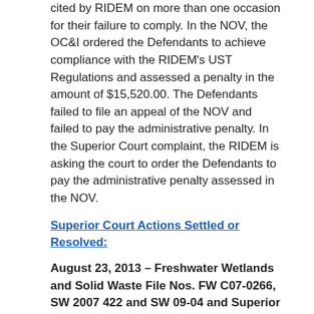cited by RIDEM on more than one occasion for their failure to comply. In the NOV, the OC&I ordered the Defendants to achieve compliance with the RIDEM's UST Regulations and assessed a penalty in the amount of $15,520.00. The Defendants failed to file an appeal of the NOV and failed to pay the administrative penalty. In the Superior Court complaint, the RIDEM is asking the court to order the Defendants to pay the administrative penalty assessed in the NOV.
Superior Court Actions Settled or Resolved:
August 23, 2013 - Freshwater Wetlands and Solid Waste File Nos. FW C07-0266, SW 2007 422 and SW 09-04 and Superior Court File No. PC 12-6063 re: Plaintiff Janet L. Coit, Director, RIDEM vs. Defendants William and Cynthia Overdeep for property located at 1621 Old Smithfield Road in the town of North Smithfield. The Defendants own the property. On February 18, 2008 the OC&I issued an